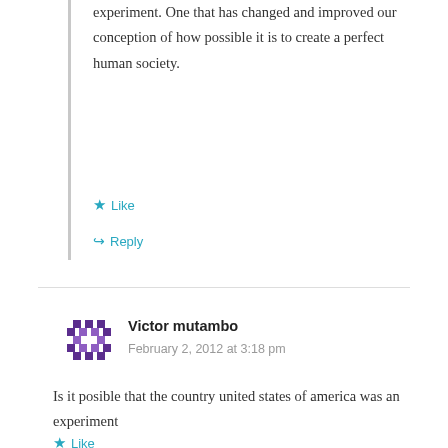experiment. One that has changed and improved our conception of how possible it is to create a perfect human society.
Like
Reply
Victor mutambo
February 2, 2012 at 3:18 pm
Is it posible that the country united states of america was an experiment
Like